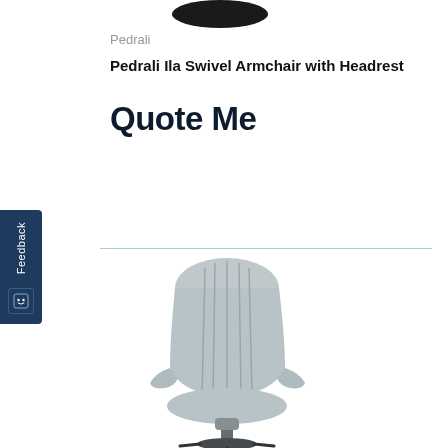[Figure (photo): Partial top view of a black chair base/seat visible at the very top of the page]
Pedrali
Pedrali Ila Swivel Armchair with Headrest
Quote Me
[Figure (screenshot): Dark blue vertical feedback tab on the left side with 'Feedback' text rotated and a smiley icon button]
[Figure (photo): Front view of Pedrali Ila Swivel Armchair with Headrest upholstered in light grey fabric, shown from the front/back, with a dark swivel base]